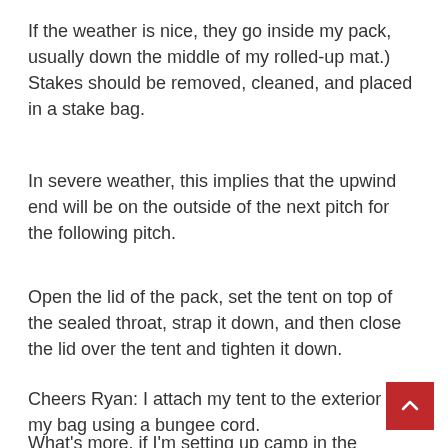If the weather is nice, they go inside my pack, usually down the middle of my rolled-up mat.) Stakes should be removed, cleaned, and placed in a stake bag.
In severe weather, this implies that the upwind end will be on the outside of the next pitch for the following pitch.
Open the lid of the pack, set the tent on top of the sealed throat, strap it down, and then close the lid over the tent and tighten it down.
Cheers Ryan: I attach my tent to the exterior of my bag using a bungee cord.
What's more, if I'm setting up camp in the